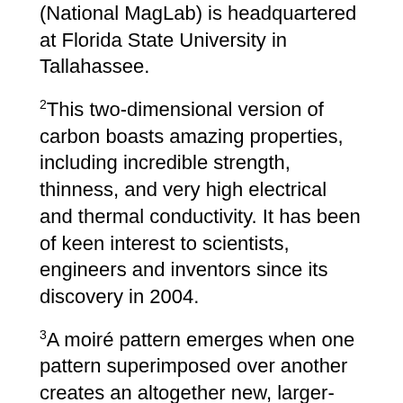(National MagLab) is headquartered at Florida State University in Tallahassee.
2This two-dimensional version of carbon boasts amazing properties, including incredible strength, thinness, and very high electrical and thermal conductivity. It has been of keen interest to scientists, engineers and inventors since its discovery in 2004.
3A moiré pattern emerges when one pattern superimposed over another creates an altogether new, larger-scale, regularly repeating pattern. Moiré patterns are found in fabrics, show up when you try to film a film, and emerge when sheets of graphene and other 2D materials are stacked on top of each other in physics experiments.
4At the National MagLab, scientists put materials inside high magnetic fields because the electrons interact with the field in a way that leads to